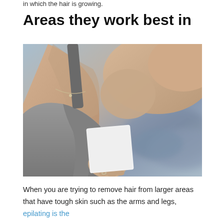in which the hair is growing.
Areas they work best in
[Figure (photo): A woman in a gray tank top raising her arm to show her underarm, holding a wax strip, with a blurred rocky waterside background.]
When you are trying to remove hair from larger areas that have tough skin such as the arms and legs, epilating is the